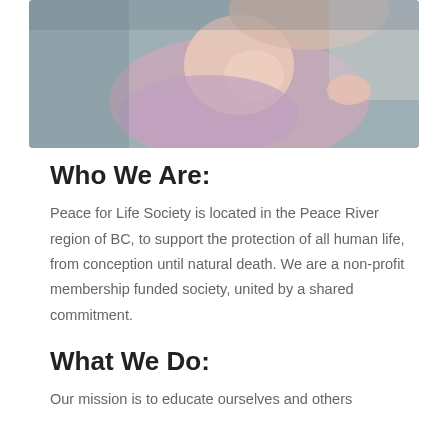[Figure (photo): A smiling baby in a pink/lavender outfit being held and kissed by a parent on a gray surface]
Who We Are:
Peace for Life Society is located in the Peace River region of BC, to support the protection of all human life, from conception until natural death. We are a non-profit membership funded society, united by a shared commitment.
What We Do:
Our mission is to educate ourselves and others